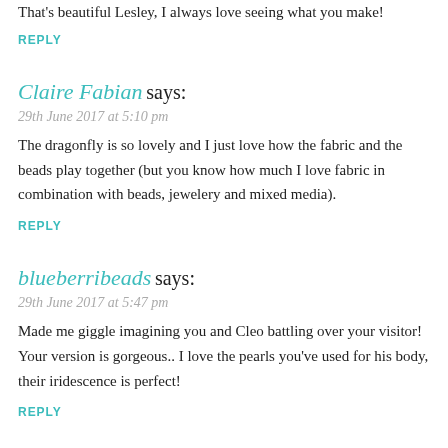That's beautiful Lesley, I always love seeing what you make!
REPLY
Claire Fabian says:
29th June 2017 at 5:10 pm
The dragonfly is so lovely and I just love how the fabric and the beads play together (but you know how much I love fabric in combination with beads, jewelery and mixed media).
REPLY
blueberribeads says:
29th June 2017 at 5:47 pm
Made me giggle imagining you and Cleo battling over your visitor! Your version is gorgeous.. I love the pearls you've used for his body, their iridescence is perfect!
REPLY